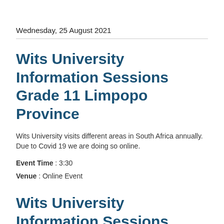Wednesday, 25 August 2021
Wits University Information Sessions Grade 11 Limpopo Province
Wits University visits different areas in South Africa annually. Due to Covid 19 we are doing so online.
Event Time : 3:30
Venue : Online Event
Wits University Information Sessions Grade 11 Free State